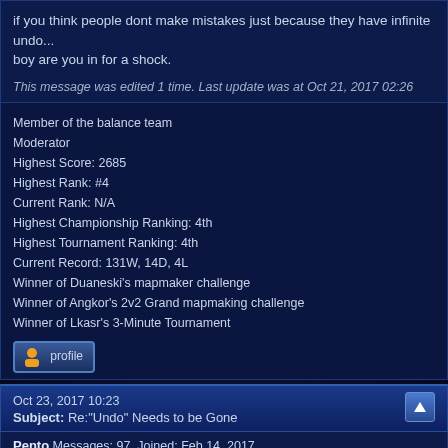if you think people dont make mistakes just because they have infinite undo... boy are you in for a shock.
This message was edited 1 time. Last update was at Oct 21, 2017 02:26
Member of the balance team
Moderator
Highest Score: 2685
Highest Rank: #4
Current Rank: N/A
Highest Championship Ranking: 4th
Highest Tournament Ranking: 4th
Current Record: 131W, 14D, 4L
Winner of Duaneski's mapmaker challenge
Winner of Angkor's 2v2 Grand mapmaking challenge
Winner of Lkasr's 3-Minute Tournament
Oct 23, 2017 10:23
Subject: Re:"Undo" Needs to be Gone
Pento Messages: 97, Joined: Feb 14, 2017,
The Impaler wrote:i get annoyed by it too, but its not quite as bad as you think when inititally getting used to it. when it comes to esports, we like to give players the opportunity to display the best possible skill levels. perfect move vs perfect move... who wins? someone always wins in the end, and it seems to be the same people, so maybe there is a bit more to it
if you think people dont make mistakes just because they have infinite undo... boy are you in for a shock.